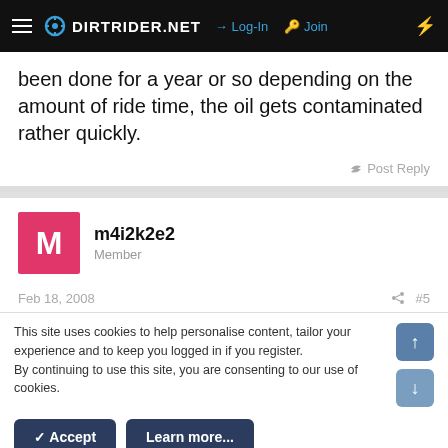DIRTRIDER.NET  Log-In  Join
been done for a year or so depending on the amount of ride time, the oil gets contaminated rather quickly.
Post Reply
m4i2k2e2
Member
Feb 18, 2008  #5
This site uses cookies to help personalise content, tailor your experience and to keep you logged in if you register.
By continuing to use this site, you are consenting to our use of cookies.
✓ Accept   Learn more...